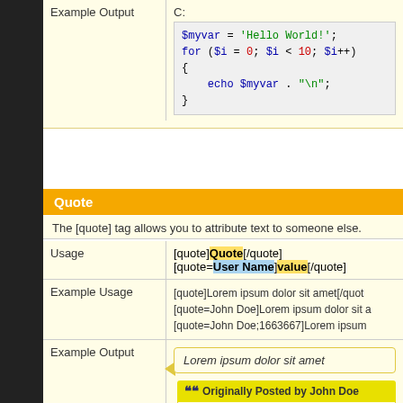|  |  |
| --- | --- |
| Example Output | C:
$myvar = 'Hello World!';
for ($i = 0; $i < 10; $i++)
{
    echo $myvar . "\n";
} |
Quote
The [quote] tag allows you to attribute text to someone else.
| Usage |  |
| --- | --- |
| Usage | [quote]Quote[/quote]
[quote=User Name]value[/quote] |
| Example Usage | [quote]Lorem ipsum dolor sit amet[/quote]
[quote=John Doe]Lorem ipsum dolor sit a
[quote=John Doe;1663667]Lorem ipsum |
| Example Output | Lorem ipsum dolor sit amet

Originally Posted by John Doe
Lorem ipsum dolor sit amet |